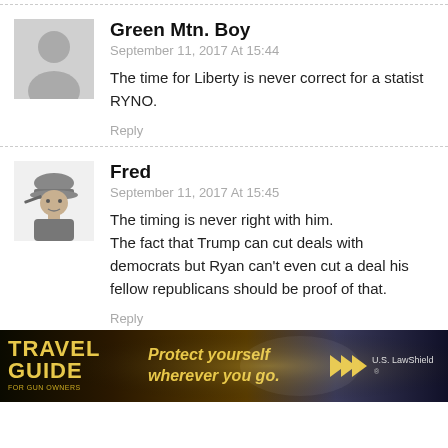Green Mtn. Boy
September 11, 2017 At 15:44
The time for Liberty is never correct for a statist RYNO.
Reply
Fred
September 11, 2017 At 15:45
The timing is never right with him.
The fact that Trump can cut deals with democrats but Ryan can't even cut a deal his fellow republicans should be proof of that.
Reply
[Figure (photo): Travel Guide for Gun Owners advertisement banner — black/dark brown background with yellow text reading TRAVEL GUIDE FOR GUN OWNERS, Protect yourself wherever you go., and US LawShield logo/arrows]